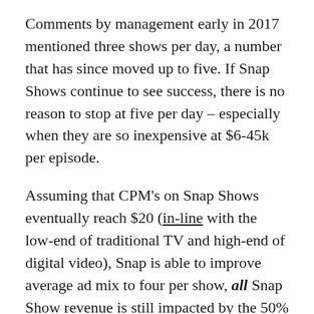Comments by management early in 2017 mentioned three shows per day, a number that has since moved up to five. If Snap Shows continue to see success, there is no reason to stop at five per day – especially when they are so inexpensive at $6-45k per episode.
Assuming that CPM's on Snap Shows eventually reach $20 (in-line with the low-end of traditional TV and high-end of digital video), Snap is able to improve average ad mix to four per show, all Snap Show revenue is still impacted by the 50% revenue share, average viewers per episode double to 12 million, and new episodes per day bumps up to 10, Snap would generate approximately $1.75 billion in annualized Snap Show revenue. At about $4.8 million per day, Snap shows become a 90% gross margin business (not considering hosting costs) if assuming all 10 daily episodes cost near